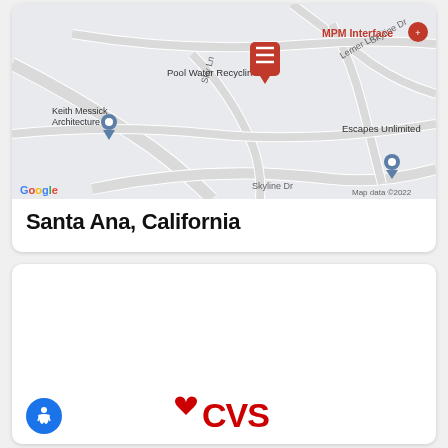[Figure (map): Google Maps screenshot showing Santa Ana, California area with pins for Pool Water Recycling, MPM Interface, Keith Messick Architecture, and Escapes Unlimited. Roads visible include Skyline Dr, Sky Ln, Lerner Ln. Google branding and Map data ©2022 visible.]
Santa Ana, California
[Figure (logo): CVS pharmacy logo (heart + CVS text in red) partially visible at bottom of page]